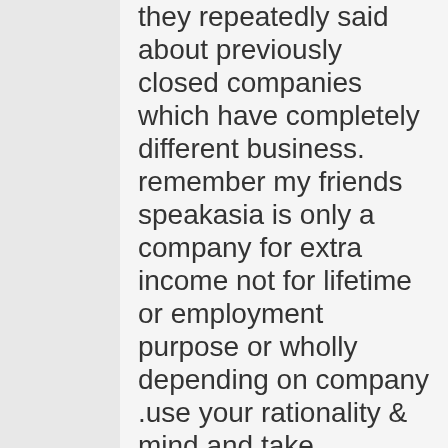they repeatedly said about previously closed companies which have completely different business. remember my friends speakasia is only a company for extra income not for lifetime or employment purpose or wholly depending on company .use your rationality & mind and take speakasia as only investment. and where there is investment, investment always involve risk.(such